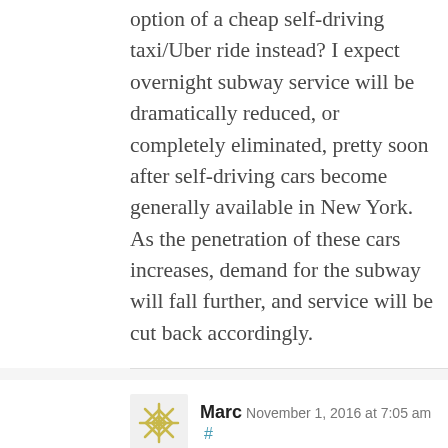option of a cheap self-driving taxi/Uber ride instead? I expect overnight subway service will be dramatically reduced, or completely eliminated, pretty soon after self-driving cars become generally available in New York. As the penetration of these cars increases, demand for the subway will fall further, and service will be cut back accordingly.
Marc November 1, 2016 at 7:05 am #
Max, see these articles for a more thorough discussion on